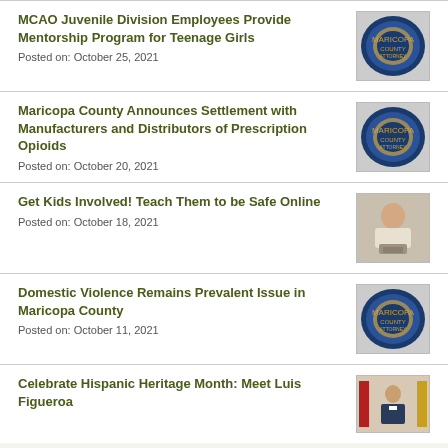MCAO Juvenile Division Employees Provide Mentorship Program for Teenage Girls
Posted on: October 25, 2021
[Figure (logo): Maricopa County Attorney seal logo, circular blue badge]
Maricopa County Announces Settlement with Manufacturers and Distributors of Prescription Opioids
Posted on: October 20, 2021
[Figure (logo): Maricopa County Attorney seal logo, circular blue badge]
Get Kids Involved! Teach Them to be Safe Online
Posted on: October 18, 2021
[Figure (photo): Child sitting at a table looking at a tablet device]
Domestic Violence Remains Prevalent Issue in Maricopa County
Posted on: October 11, 2021
[Figure (logo): Maricopa County Attorney seal logo, circular blue badge]
Celebrate Hispanic Heritage Month: Meet Luis Figueroa
[Figure (photo): Person in suit standing in front of American and other flags]